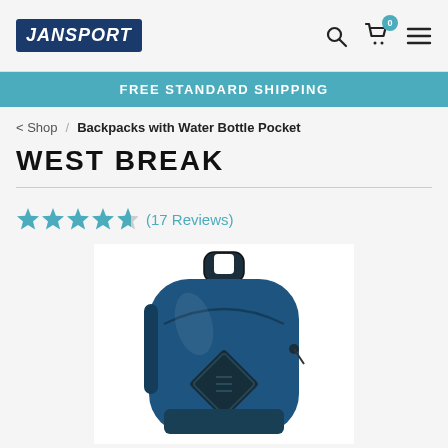JanSport — Search, Cart (0), Menu
FREE STANDARD SHIPPING
< Shop / Backpacks with Water Bottle Pocket
WEST BREAK
★★★★½ (17 Reviews)
[Figure (photo): Blue JanSport West Break backpack with dark handle, diamond logo patch, and zipper pockets]